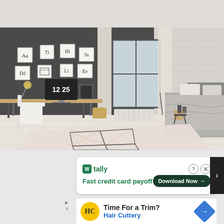[Figure (photo): Modern Scandinavian bedroom interior with dark grey accent wall, alphabet poster prints, a desk with iMac showing 12:25, white Eames-style chair, a large bed with grey bedding, pink geometric-patterned rug, white curtains framing a window, and striped wallpaper on the right wall.]
[Figure (screenshot): Tally app advertisement banner: green Tally logo with tagline 'Fast credit card payoff' and a 'Download Now' button with arrow. Below it, a Hair Cuttery ad with yellow HC logo, text 'Time For a Trim?' and 'Hair Cuttery' in blue, with a blue diamond-shaped arrow icon.]